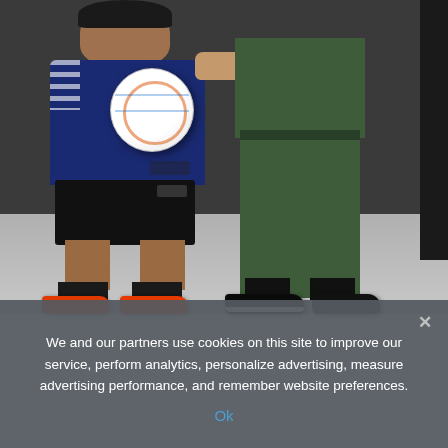[Figure (photo): A child wearing a navy blue soccer jersey and black shorts with red/orange cleats, holding a soccer ball, standing next to an adult in green trousers and black shoes. The adult has their hand on the child's shoulder and is wearing a gold watch.]
We and our partners use cookies on this site to improve our service, perform analytics, personalize advertising, measure advertising performance, and remember website preferences.
Ok